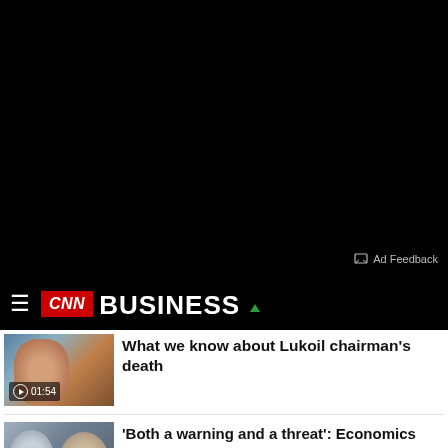[Figure (screenshot): Black video/ad area at the top of the page]
Ad Feedback
CNN BUSINESS
What we know about Lukoil chairman's death
'Both a warning and a threat': Economics professor decodes Fed chair's comments